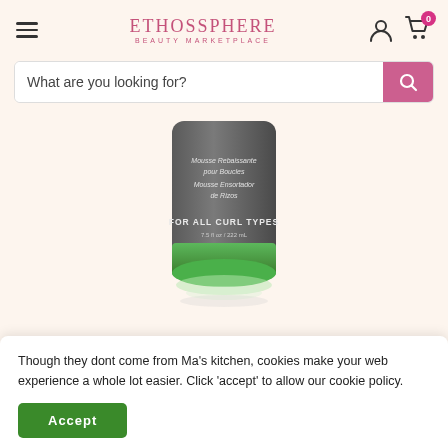EthosSphere Beauty Marketplace
What are you looking for?
[Figure (photo): A dark grey cylindrical bottle of curl mousse with green product visible at the bottom. Label reads: Mousse Rebaissante pour Boucles, Mousse Ensortador de Rizos, FOR ALL CURL TYPES, 7.5 fl oz / 222 mL]
Though they dont come from Ma's kitchen, cookies make your web experience a whole lot easier. Click 'accept' to allow our cookie policy.
Accept